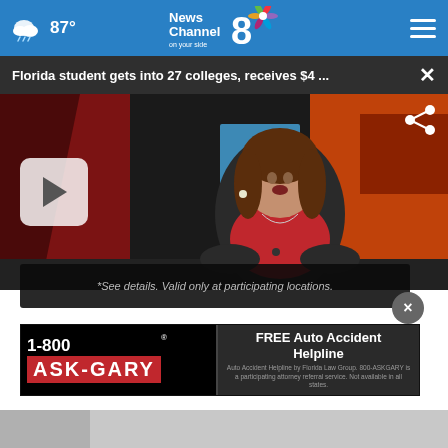87° News Channel 8 on your side [NBC logo]
Florida student gets into 27 colleges, receives $4 ...
[Figure (screenshot): News anchor woman speaking at a TV studio desk with colorful background panels. A play button overlay is visible on the left side of the video thumbnail.]
*See details. Valid only at participating locations.
[Figure (advertisement): 1-800 ASK-GARY advertisement banner. Left side black with red banner showing '1-800 ASK-GARY'. Right side dark gray with text 'FREE Auto Accident Helpline' and small disclaimer text.]